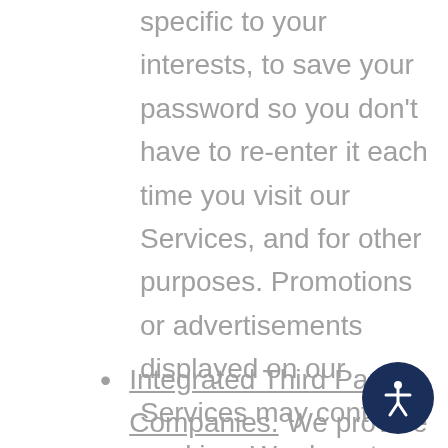specific to your interests, to save your password so you don't have to re-enter it each time you visit our Services, and for other purposes. Promotions or advertisements displayed on our Services may contain cookies. We do not have access to or control over information collected by outside advertisers on our Services.
Integrated Third Party Companies. We provide for integration of the Service with